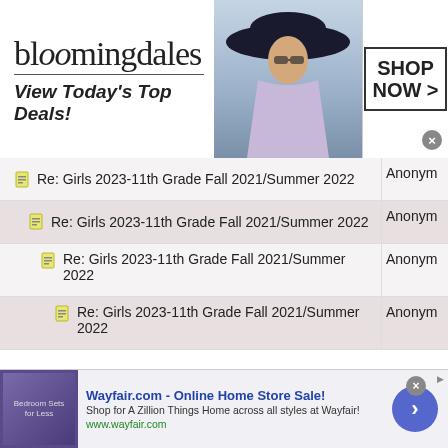[Figure (screenshot): Bloomingdale's advertisement banner: logo, 'View Today's Top Deals!' tagline, model with hat, SHOP NOW > button]
Re: Girls 2023-11th Grade Fall 2021/Summer 2022 | Anonym
Re: Girls 2023-11th Grade Fall 2021/Summer 2022 | Anonym
Re: Girls 2023-11th Grade Fall 2021/Summer 2022 | Anonym
Re: Girls 2023-11th Grade Fall 2021/Summer 2022 | Anonym
Re: Girls 2023-11th Grade Fall 2021/Summer 2022 | Anonym
Re: Girls 2023-11th Grade Fall 2021/Summer 2022 | Anonym
Re: Girls 2023-11th Grade Fall 2021/Summer 2022 | Anonym
[Figure (screenshot): Wayfair.com advertisement banner: 'Online Home Store Sale!' with shop description and navigation arrow]